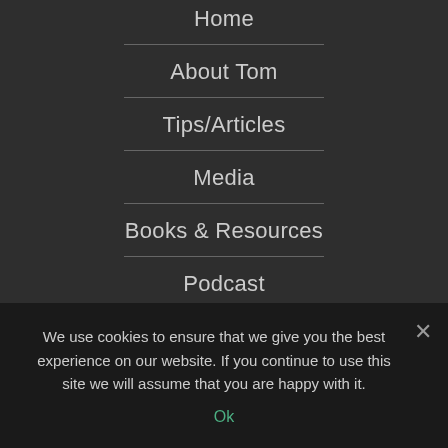Home
About Tom
Tips/Articles
Media
Books & Resources
Podcast
Speaker
We use cookies to ensure that we give you the best experience on our website. If you continue to use this site we will assume that you are happy with it.
Ok